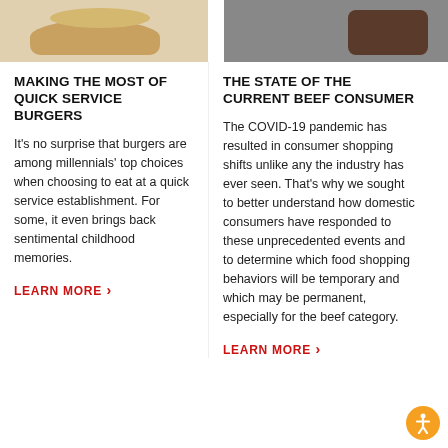[Figure (photo): Burger on a plate — quick service burger photo (top of left column, cropped)]
[Figure (photo): Person cutting a steak at a dining table — beef consumer dining photo (top of right column, cropped)]
MAKING THE MOST OF QUICK SERVICE BURGERS
It's no surprise that burgers are among millennials' top choices when choosing to eat at a quick service establishment. For some, it even brings back sentimental childhood memories.
LEARN MORE ›
THE STATE OF THE CURRENT BEEF CONSUMER
The COVID-19 pandemic has resulted in consumer shopping shifts unlike any the industry has ever seen. That's why we sought to better understand how domestic consumers have responded to these unprecedented events and to determine which food shopping behaviors will be temporary and which may be permanent, especially for the beef category.
LEARN MORE ›